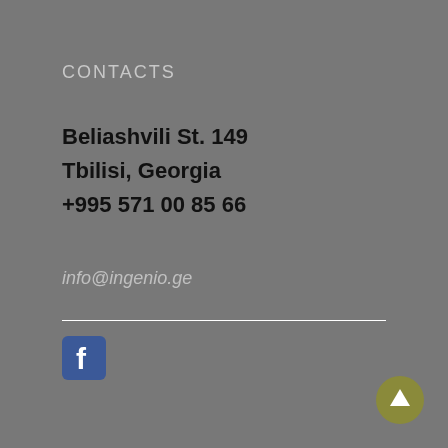CONTACTS
Beliashvili St. 149
Tbilisi, Georgia
+995 571 00 85 66
info@ingenio.ge
[Figure (logo): Facebook logo icon — blue rounded square with white 'f' letter]
[Figure (other): Olive/yellow-green circular button with white upward arrow]